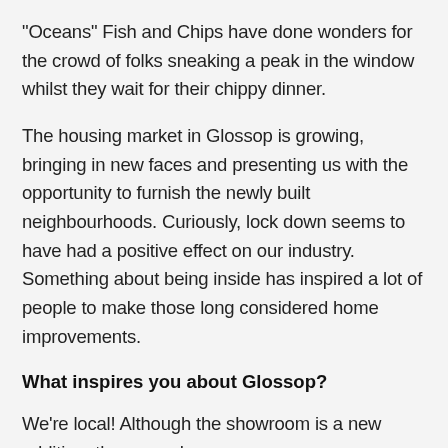"Oceans" Fish and Chips have done wonders for the crowd of folks sneaking a peak in the window whilst they wait for their chippy dinner.
The housing market in Glossop is growing, bringing in new faces and presenting us with the opportunity to furnish the newly built neighbourhoods. Curiously, lock down seems to have had a positive effect on our industry. Something about being inside has inspired a lot of people to make those long considered home improvements.
What inspires you about Glossop?
We're local! Although the showroom is a new addition, the owner has footsteps deeply rooted